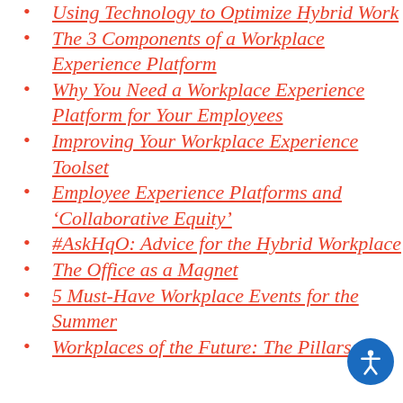Using Technology to Optimize Hybrid Work
The 3 Components of a Workplace Experience Platform
Why You Need a Workplace Experience Platform for Your Employees
Improving Your Workplace Experience Toolset
Employee Experience Platforms and ‘Collaborative Equity’
#AskHqO: Advice for the Hybrid Workplace
The Office as a Magnet
5 Must-Have Workplace Events for the Summer
Workplaces of the Future: The Pillars of...